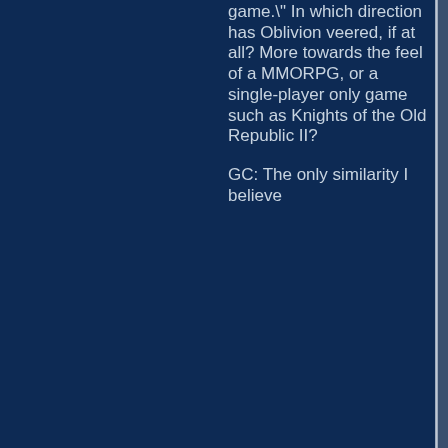game." In which direction has Oblivion veered, if at all? More towards the feel of a MMORPG, or a single-player only game such as Knights of the Old Republic II?
GC: The only similarity I believe...